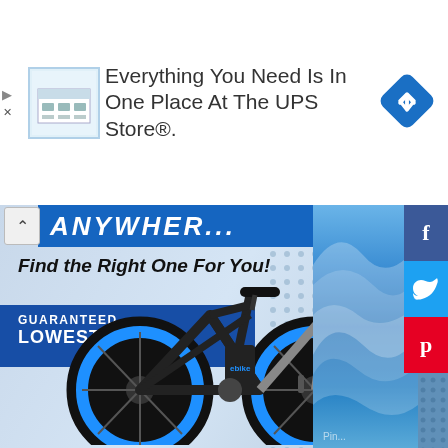[Figure (screenshot): UPS Store advertisement banner showing store icon, text 'Everything You Need Is In One Place At The UPS Store®.', and a blue diamond navigation icon]
[Figure (photo): Electric fat-tire mountain bike (black frame with blue wheel rims) displayed against a blue dotted background with 'ANYWHE...' text banner, 'Find the Right One For You!' headline, and 'GUARANTEED LOWEST PRICE' blue banner. Right side shows ocean wave photo. Social sharing buttons (Facebook, Twitter, Pinterest) on far right.]